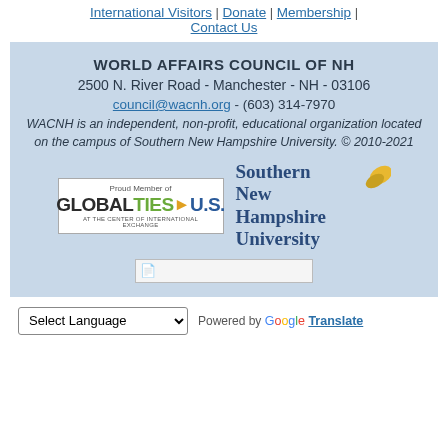International Visitors | Donate | Membership | Contact Us
WORLD AFFAIRS COUNCIL OF NH
2500 N. River Road - Manchester - NH - 03106
council@wacnh.org - (603) 314-7970
WACNH is an independent, non-profit, educational organization located on the campus of Southern New Hampshire University. © 2010-2021
[Figure (logo): Global Ties U.S. logo - Proud Member of GLOBALTIES>U.S. AT THE CENTER OF INTERNATIONAL EXCHANGE]
[Figure (logo): Southern New Hampshire University logo with yellow leaf graphic]
[Figure (other): Placeholder image with small icon]
Select Language — Powered by Google Translate